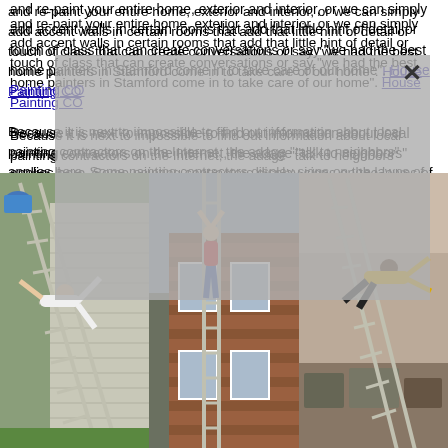and re-paint your entire home, exterior and interior, or we can simply add accent walls in certain rooms that add that little hint of detail or touch of class that can create conversations or say "we had the best home painters in Stamford come in to take care of our home". House Painting CO
Because it is next to impossible to find out information about local painting contractors on the Internet, the adage "talk to neighbors" applies here. Some painting contractors display signs on the lawns of houses they are working at, which can be seen when driving by and siding and painter's white paint inside your neighborhood. I hired house painters to sample and prepared and at job. He had a different charge. He also primed and painted the porch. He was quite punctual unless my experience with other contractors, which was really good. After the painting was done he also cleaned the roof and around the house and putting back the things in place. We ended up with him painting a room in the house
[Figure (photo): Three side-by-side photos showing people on ladders on the exterior of houses: left photo shows a woman in white doing acrobatics on a ladder leaning against a gray-sided house, middle photo shows a person in red climbing on a ladder on a brick house exterior, right photo shows a man in yellow shirt flying/jumping near a ladder indoors.]